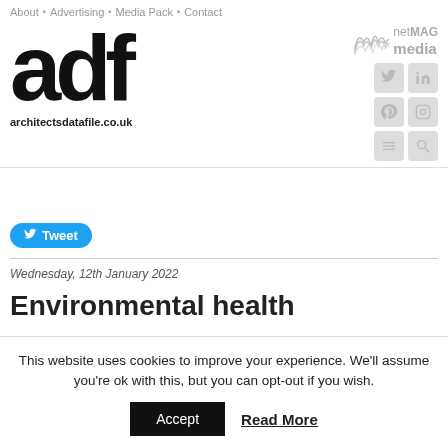About . Advertising . Media Pack . Contact
[Figure (logo): adf architectsdatafile.co.uk logo]
[Figure (logo): netMAG media logo with wave graphic]
[Figure (infographic): Social media icons: Twitter, LinkedIn, Pinterest, Instagram, menu, search]
Tweet
Wednesday, 12th January 2022
Environmental health
This website uses cookies to improve your experience. We'll assume you're ok with this, but you can opt-out if you wish.
Accept   Read More